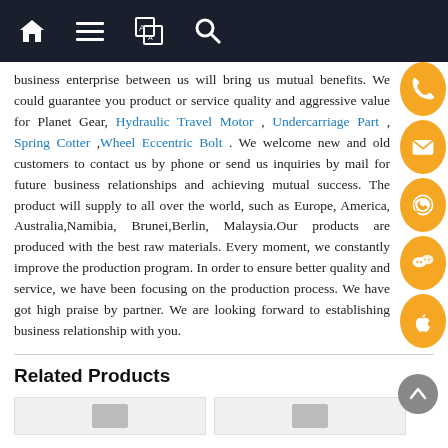Navigation bar with home, menu, translate, and search icons
business enterprise between us will bring us mutual benefits. We could guarantee you product or service quality and aggressive value for Planet Gear, Hydraulic Travel Motor , Undercarriage Part , Spring Cotter ,Wheel Eccentric Bolt . We welcome new and old customers to contact us by phone or send us inquiries by mail for future business relationships and achieving mutual success. The product will supply to all over the world, such as Europe, America, Australia,Namibia, Brunei,Berlin, Malaysia.Our products are produced with the best raw materials. Every moment, we constantly improve the production program. In order to ensure better quality and service, we have been focusing on the production process. We have got high praise by partner. We are looking forward to establishing business relationship with you.
Related Products